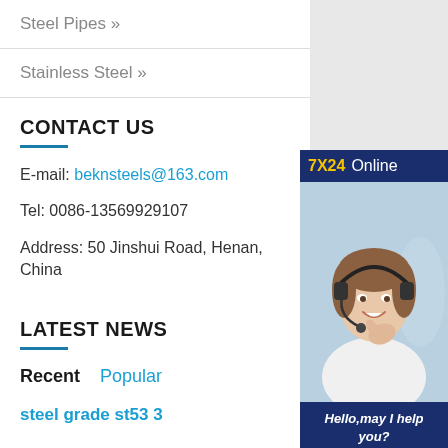Steel Pipes »
Stainless Steel »
CONTACT US
E-mail: beknsteels@163.com
Tel: 0086-13569929107
Address: 50 Jinshui Road, Henan, China
[Figure (photo): Customer service representative with headset, 7X24 Online banner, Hello may I help you text, Get Latest Price button]
LATEST NEWS
Recent   Popular
steel grade st53 3